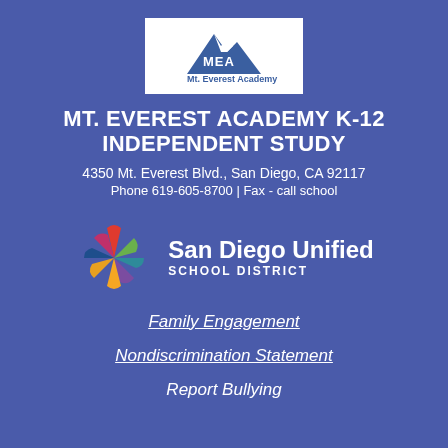[Figure (logo): Mt. Everest Academy logo — mountain graphic with letters MEA and text 'Mt. Everest Academy', white background]
MT. EVEREST ACADEMY K-12 INDEPENDENT STUDY
4350 Mt. Everest Blvd., San Diego, CA 92117
Phone 619-605-8700 | Fax - call school
[Figure (logo): San Diego Unified School District logo — colorful star/pinwheel shape beside 'San Diego Unified SCHOOL DISTRICT' text]
Family Engagement
Nondiscrimination Statement
Report Bullying